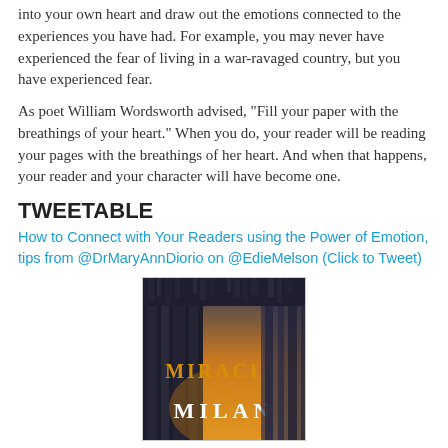into your own heart and draw out the emotions connected to the experiences you have had. For example, you may never have experienced the fear of living in a war-ravaged country, but you have experienced fear.
As poet William Wordsworth advised, "Fill your paper with the breathings of your heart." When you do, your reader will be reading your pages with the breathings of her heart. And when that happens, your reader and your character will have become one.
TWEETABLE
How to Connect with Your Readers using the Power of Emotion, tips from @DrMaryAnnDiorio on @EdieMelson (Click to Tweet)
[Figure (illustration): Book cover for 'Miracle in Milan' featuring a gothic architectural facade with spires, dark stone columns, and golden text reading 'MIRACLE IN MILAN']